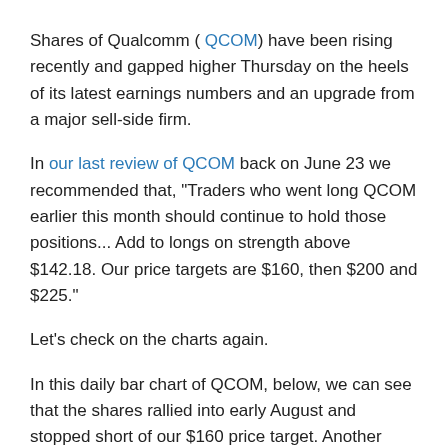Shares of Qualcomm ( QCOM ) have been rising recently and gapped higher Thursday on the heels of its latest earnings numbers and an upgrade from a major sell-side firm.
In our last review of QCOM back on June 23 we recommended that, "Traders who went long QCOM earlier this month should continue to hold those positions... Add to longs on strength above $142.18. Our price targets are $160, then $200 and $225."
Let's check on the charts again.
In this daily bar chart of QCOM, below, we can see that the shares rallied into early August and stopped short of our $160 price target. Another downside ended in early October and very briefly hit our $125 sell stop suggestion before turning higher again. Prices rallied into early November before gapping higher Thursday. QCOM is above the 50-